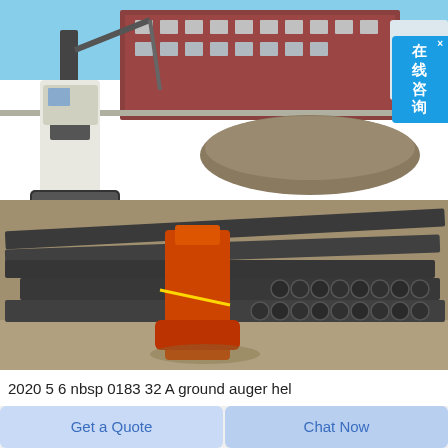[Figure (photo): Construction site photo showing a large drilling rig/auger machine in the background with a red/orange safety barrier in the foreground. Numerous dark steel drill pipes/auger rods are stacked horizontally on the ground. Gravel, dirt, and a multi-story red brick building are visible in the background.]
在线咨询
2020 5 6 nbsp 0183 32 A ground auger hel
Get a Quote
Chat Now